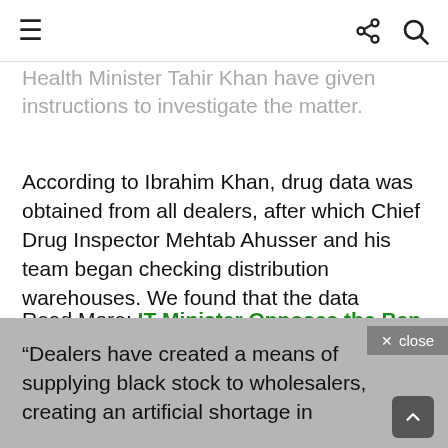[hamburger menu] [share icon] [search icon]
Health Minister Tahir Khan have given instructions to investigate the matter.
According to Ibrahim Khan, drug data was obtained from all dealers, after which Chief Drug Inspector Mehtab Ahusser and his team began checking distribution warehouses. We found that the data provided by drug inspectors to distributors of related brands contained far more inventories.
Read More: IT Minister Opposes the Ban on Cryptocurrency
“Dealers have created a means of supplying black stock to wholesalers, creating an artificial shortage in